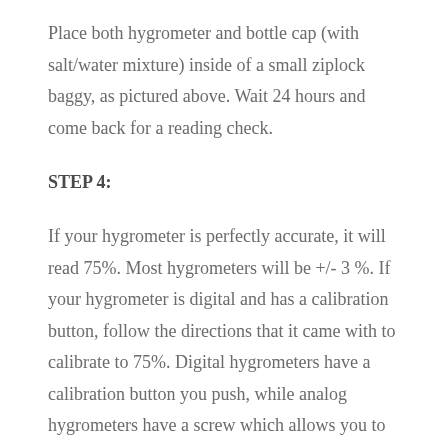Place both hygrometer and bottle cap (with salt/water mixture) inside of a small ziplock baggy, as pictured above. Wait 24 hours and come back for a reading check.
STEP 4:
If your hygrometer is perfectly accurate, it will read 75%. Most hygrometers will be +/- 3 %. If your hygrometer is digital and has a calibration button, follow the directions that it came with to calibrate to 75%. Digital hygrometers have a calibration button you push, while analog hygrometers have a screw which allows you to adjust the needle accordingly.
If your hygrometer is not adjustable, you'll just have to